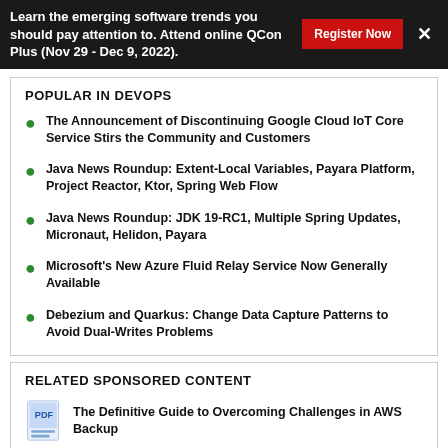Learn the emerging software trends you should pay attention to. Attend online QCon Plus (Nov 29 - Dec 9, 2022).
POPULAR IN DEVOPS
The Announcement of Discontinuing Google Cloud IoT Core Service Stirs the Community and Customers
Java News Roundup: Extent-Local Variables, Payara Platform, Project Reactor, Ktor, Spring Web Flow
Java News Roundup: JDK 19-RC1, Multiple Spring Updates, Micronaut, Helidon, Payara
Microsoft's New Azure Fluid Relay Service Now Generally Available
Debezium and Quarkus: Change Data Capture Patterns to Avoid Dual-Writes Problems
RELATED SPONSORED CONTENT
The Definitive Guide to Overcoming Challenges in AWS Backup
Data Mesh 101: How to Get Started